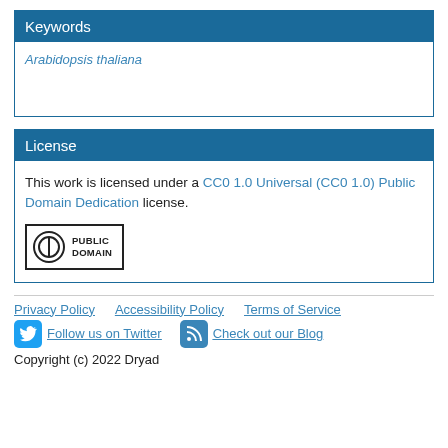Keywords
Arabidopsis thaliana
License
This work is licensed under a CC0 1.0 Universal (CC0 1.0) Public Domain Dedication license.
[Figure (logo): Public Domain badge with circle-copyright symbol and text PUBLIC DOMAIN]
Privacy Policy   Accessibility Policy   Terms of Service   Follow us on Twitter   Check out our Blog   Copyright (c) 2022 Dryad